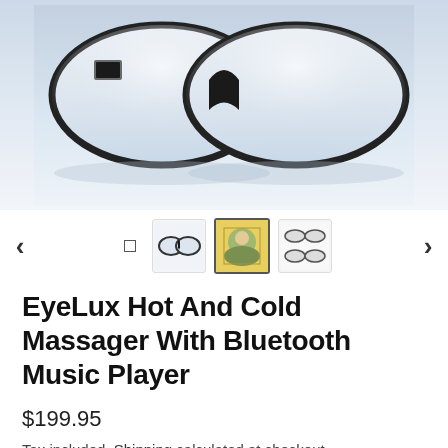[Figure (photo): Eye massager goggles product photo — white goggle-style eye massager with black bridge, reflected on light blue/white gradient background]
[Figure (photo): Thumbnail navigation strip with left/right arrows and four product thumbnail images including a small square indicator, the goggles front view, lifestyle photo, and accessories photo]
EyeLux Hot And Cold Massager With Bluetooth Music Player
$199.95
Tax included. Shipping calculated at checkout.